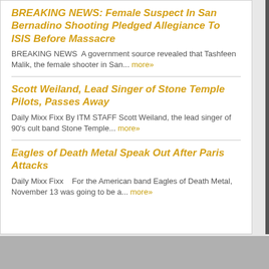BREAKING NEWS: Female Suspect In San Bernadino Shooting Pledged Allegiance To ISIS Before Massacre
BREAKING NEWS  A government source revealed that Tashfeen Malik, the female shooter in San... more»
Scott Weiland, Lead Singer of Stone Temple Pilots, Passes Away
Daily Mixx Fixx By ITM STAFF Scott Weiland, the lead singer of 90's cult band Stone Temple... more»
Eagles of Death Metal Speak Out After Paris Attacks
Daily Mixx Fixx   For the American band Eagles of Death Metal, November 13 was going to be a... more»